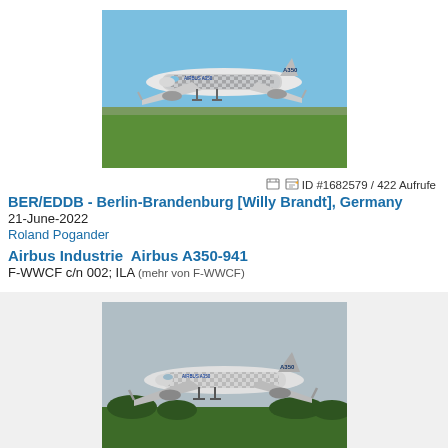[Figure (photo): Airbus A350-941 with carbon fiber livery landing at Berlin-Brandenburg airport, blue sky with green fields in background]
ID #1682579 / 422 Aufrufe
BER/EDDB - Berlin-Brandenburg [Willy Brandt], Germany
21-June-2022
Roland Pogander
Airbus Industrie  Airbus A350-941
F-WWCF c/n 002; ILA (mehr von F-WWCF)
[Figure (photo): Airbus A350 with carbon fiber livery on approach at Mumbai airport, overcast sky with trees in background]
ID #1675737 / 112 Aufrufe
BOM/VABB - Mumbai (Bombay) [Chatrapati Shivaji], India